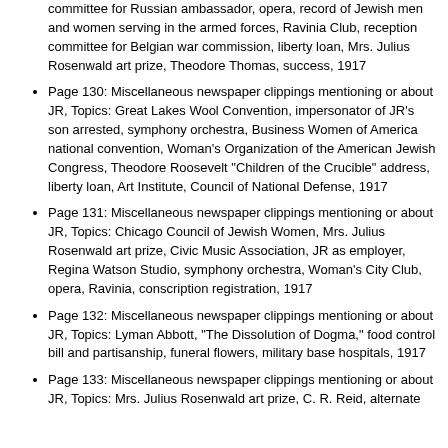committee for Russian ambassador, opera, record of Jewish men and women serving in the armed forces, Ravinia Club, reception committee for Belgian war commission, liberty loan, Mrs. Julius Rosenwald art prize, Theodore Thomas, success, 1917
Page 130: Miscellaneous newspaper clippings mentioning or about JR, Topics: Great Lakes Wool Convention, impersonator of JR's son arrested, symphony orchestra, Business Women of America national convention, Woman's Organization of the American Jewish Congress, Theodore Roosevelt "Children of the Crucible" address, liberty loan, Art Institute, Council of National Defense, 1917
Page 131: Miscellaneous newspaper clippings mentioning or about JR, Topics: Chicago Council of Jewish Women, Mrs. Julius Rosenwald art prize, Civic Music Association, JR as employer, Regina Watson Studio, symphony orchestra, Woman's City Club, opera, Ravinia, conscription registration, 1917
Page 132: Miscellaneous newspaper clippings mentioning or about JR, Topics: Lyman Abbott, "The Dissolution of Dogma," food control bill and partisanship, funeral flowers, military base hospitals, 1917
Page 133: Miscellaneous newspaper clippings mentioning or about JR, Topics: Mrs. Julius Rosenwald art prize, C. R. Reid, alternate...